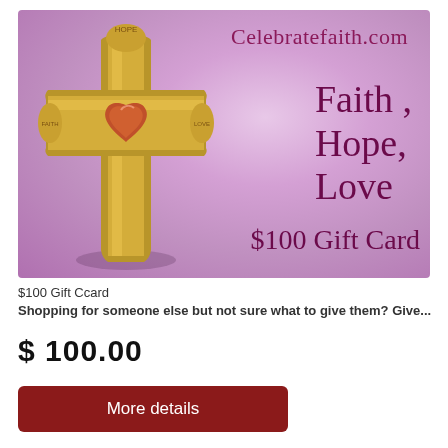[Figure (illustration): Gift card image with purple/lavender background showing a bronze cross with a copper heart in the center. Text on card reads: Celebratefaith.com, Faith, Hope, Love, $100 Gift Card]
$100 Gift Ccard
Shopping for someone else but not sure what to give them? Give...
$ 100.00
More details